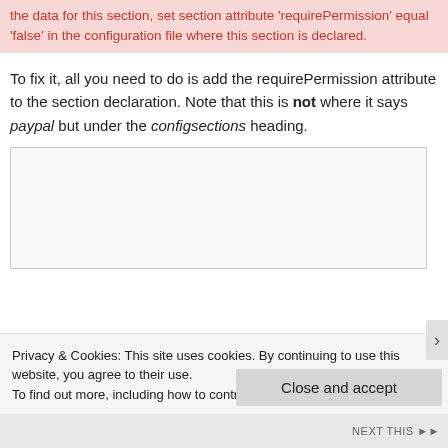the data for this section, set section attribute 'requirePermission' equal 'false' in the configuration file where this section is declared.
To fix it, all you need to do is add the requirePermission attribute to the section declaration. Note that this is not where it says paypal but under the configsections heading.
[Figure (screenshot): A light-bordered code/text box area (appears to contain configuration XML code, content not visible)]
Privacy & Cookies: This site uses cookies. By continuing to use this website, you agree to their use.
To find out more, including how to control cookies, see here: Cookie Policy
Close and accept